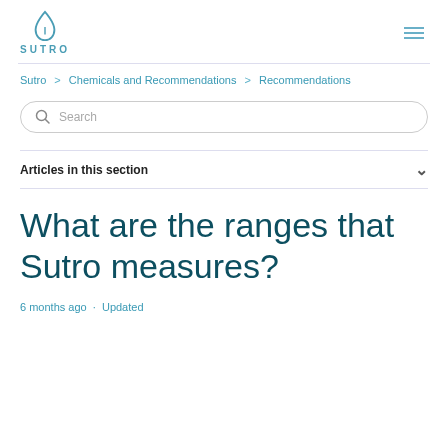SUTRO
Sutro > Chemicals and Recommendations > Recommendations
Search
Articles in this section
What are the ranges that Sutro measures?
6 months ago · Updated